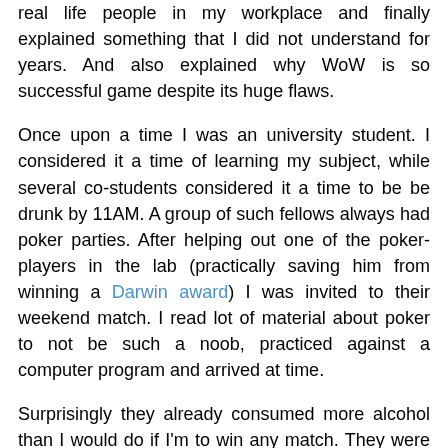real life people in my workplace and finally explained something that I did not understand for years. And also explained why WoW is so successful game despite its huge flaws.
Once upon a time I was an university student. I considered it a time of learning my subject, while several co-students considered it a time to be be drunk by 11AM. A group of such fellows always had poker parties. After helping out one of the poker-players in the lab (practically saving him from winning a Darwin award) I was invited to their weekend match. I read lot of material about poker to not be such a noob, practiced against a computer program and arrived at time.
Surprisingly they already consumed more alcohol than I would do if I'm to win any match. They were also not poker-champions. Soon my pocket was filled with cash despite I was not an experienced poker player. It was not hard at all. They talked a lot, did not pay attention, made bold moves against all odds (can be attributed to beer), and they seemed to be more interested in making me drink beer and "have fun", than winning the game. Soon the party became uneasy.